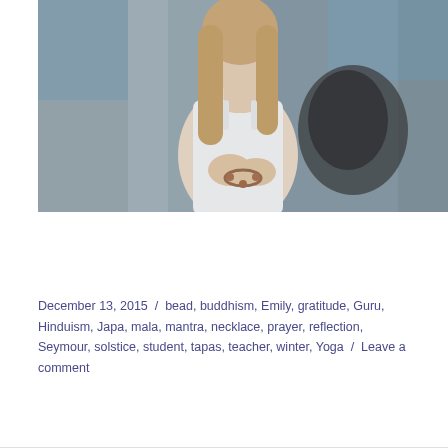[Figure (photo): A woman with long blonde hair wearing a white tank top, holding mala beads in her hands, standing against a weathered blue and grey painted wall]
December 13, 2015 / bead, buddhism, Emily, gratitude, Guru, Hinduism, Japa, mala, mantra, necklace, prayer, reflection, Seymour, solstice, student, tapas, teacher, winter, Yoga / Leave a comment